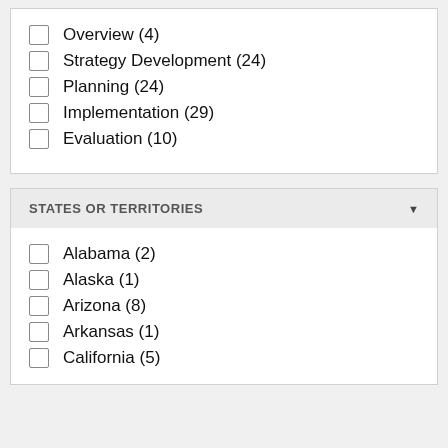Overview (4)
Strategy Development (24)
Planning (24)
Implementation (29)
Evaluation (10)
STATES OR TERRITORIES
Alabama (2)
Alaska (1)
Arizona (8)
Arkansas (1)
California (5)